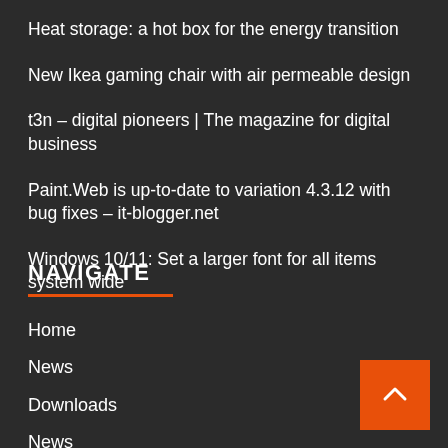Heat storage: a hot box for the energy transition
New Ikea gaming chair with air permeable design
t3n – digital pioneers | The magazine for digital business
Paint.Web is up-to-date to variation 4.3.12 with bug fixes – it-blogger.net
Windows 10/11: Set a larger font for all items system wide
NAVIGATE
Home
News
Downloads
News
Reviews
Tech